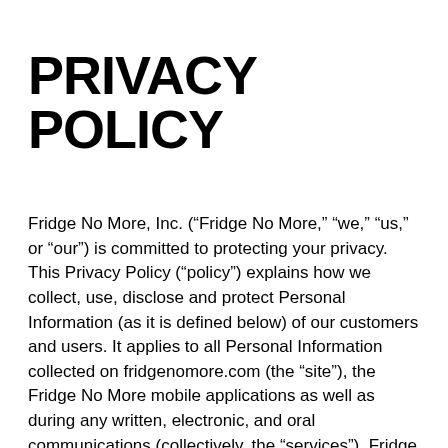PRIVACY POLICY
Fridge No More, Inc. (“Fridge No More,” “we,” “us,” or “our”) is committed to protecting your privacy. This Privacy Policy (“policy”) explains how we collect, use, disclose and protect Personal Information (as it is defined below) of our customers and users. It applies to all Personal Information collected on fridgenomore.com (the “site”), the Fridge No More mobile applications as well as during any written, electronic, and oral communications (collectively, the “services”). Fridge No More may collect Personal Information to help you place and receive orders and to improve our service.